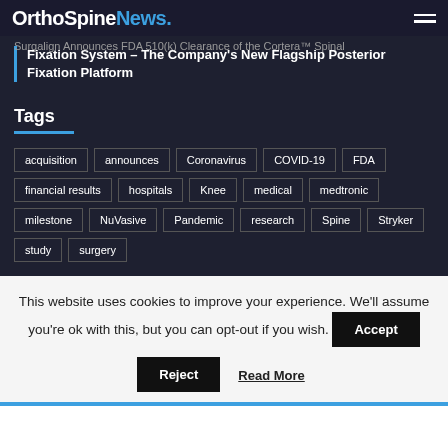OrthoSpineNews.
Surgalign Announces FDA 510(k) Clearance of the Cortera™ Spinal Fixation System – The Company's New Flagship Posterior Fixation Platform
Tags
acquisition
announces
Coronavirus
COVID-19
FDA
financial results
hospitals
Knee
medical
medtronic
milestone
NuVasive
Pandemic
research
Spine
Stryker
study
surgery
This website uses cookies to improve your experience. We'll assume you're ok with this, but you can opt-out if you wish.
Accept
Reject
Read More